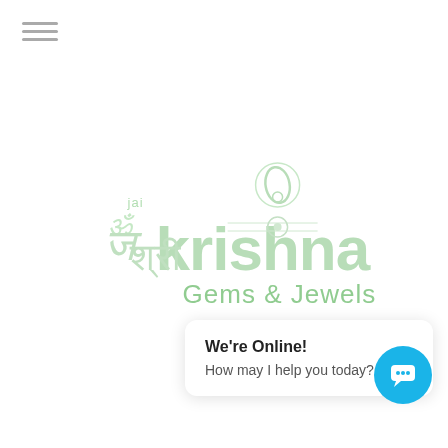[Figure (logo): Hamburger menu icon (three horizontal lines) in top-left corner]
[Figure (logo): Jai Shri Krishna Gems & Jewels logo — light green watermark style logo with Sanskrit/Hindi text and stylized graphics in the center of the page]
We're Online!
How may I help you today?
[Figure (other): Blue circular live chat button with speech bubble / ellipsis icon in bottom-right corner]